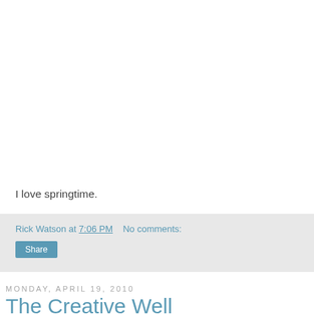I love springtime.
Rick Watson at 7:06 PM   No comments:
Share
Monday, April 19, 2010
The Creative Well